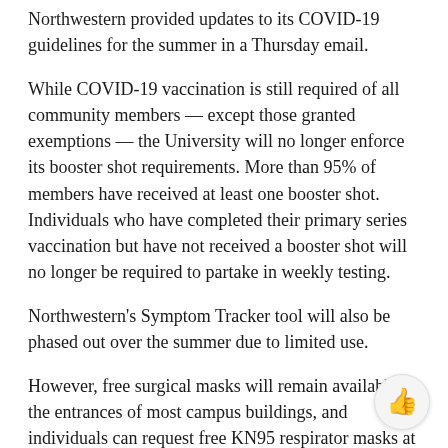Northwestern provided updates to its COVID-19 guidelines for the summer in a Thursday email.
While COVID-19 vaccination is still required of all community members — except those granted exemptions — the University will no longer enforce its booster shot requirements. More than 95% of members have received at least one booster shot. Individuals who have completed their primary series vaccination but have not received a booster shot will no longer be required to partake in weekly testing.
Northwestern's Symptom Tracker tool will also be phased out over the summer due to limited use.
However, free surgical masks will remain available at the entrances of most campus buildings, and individuals can request free KN95 respirator masks at the front desk of Norris University Center and in the lobby of the Chicago testing site at 345 E. Superior St.